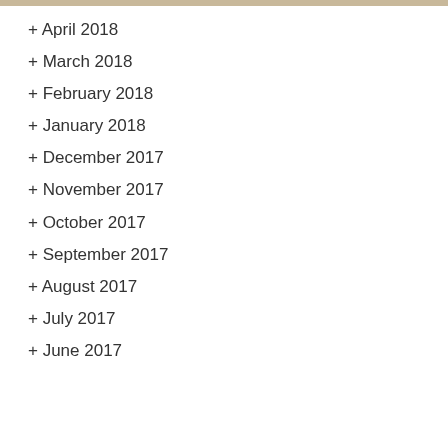+ April 2018
+ March 2018
+ February 2018
+ January 2018
+ December 2017
+ November 2017
+ October 2017
+ September 2017
+ August 2017
+ July 2017
+ June 2017